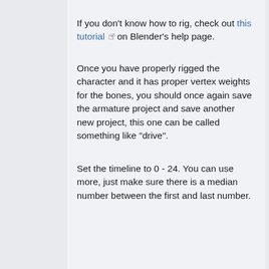If you don't know how to rig, check out this tutorial on Blender's help page.
Once you have properly rigged the character and it has proper vertex weights for the bones, you should once again save the armature project and save another new project, this one can be called something like "drive".
Set the timeline to 0 - 24. You can use more, just make sure there is a median number between the first and last number.